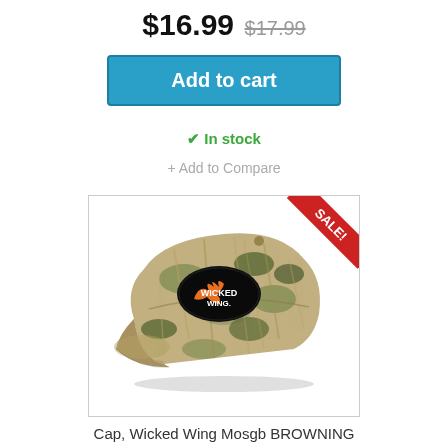$16.99 $17.99
Add to cart
✔ In stock
+ Add to Compare
[Figure (photo): Camouflage baseball cap with Wicked Wing logo patch, shown with a red SALE! ribbon in the top-right corner of the product image frame]
Cap, Wicked Wing Mosgb BROWNING